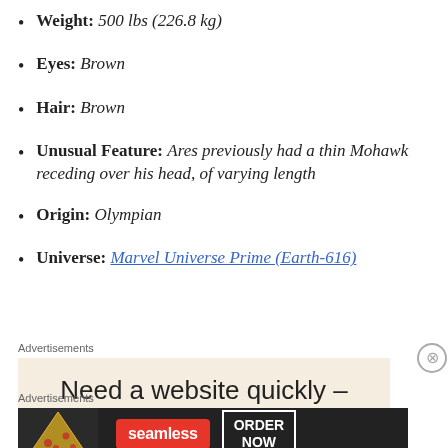Weight: 500 lbs (226.8 kg)
Eyes: Brown
Hair: Brown
Unusual Feature: Ares previously had a thin Mohawk receding over his head, of varying length
Origin: Olympian
Universe: Marvel Universe Prime (Earth-616)
Advertisements
[Figure (screenshot): Advertisement banner with text 'Need a website quickly –' on beige background]
Advertisements
[Figure (screenshot): Seamless food delivery advertisement with pizza image, Seamless red logo, and ORDER NOW button]